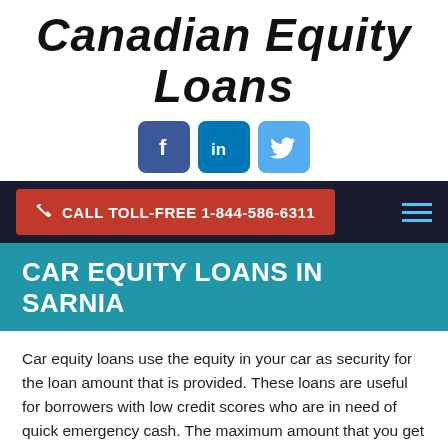Canadian Equity Loans
[Figure (other): Social media icons: Facebook (blue square), LinkedIn (blue square), Twitter (light blue square)]
CALL TOLL-FREE 1-844-586-6311
CAR EQUITY LOANS IN SARNIA
Car equity loans use the equity in your car as security for the loan amount that is provided. These loans are useful for borrowers with low credit scores who are in need of quick emergency cash. The maximum amount that you get depends upon the equity you have in your lien free vehicle.
Canadian Equity Loan specializes in providing Car Equity Loans in Sarnia at minimum interest rates and with a loan amount up to $50,000. This amount depends upon the value of your car you